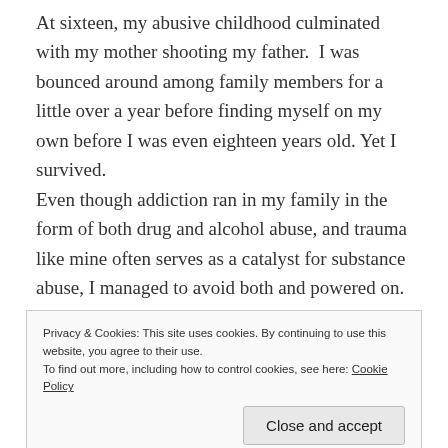At sixteen, my abusive childhood culminated with my mother shooting my father. I was bounced around among family members for a little over a year before finding myself on my own before I was even eighteen years old. Yet I survived. Even though addiction ran in my family in the form of both drug and alcohol abuse, and trauma like mine often serves as a catalyst for substance abuse, I managed to avoid both and powered on. I have struggled with severe depression my entire life, due in part to abuse and trauma, and partly due to a genetic mutation that deprives my brain of the
Privacy & Cookies: This site uses cookies. By continuing to use this website, you agree to their use.
To find out more, including how to control cookies, see here: Cookie Policy
failed unhealthy and abusive relationships, to multiple